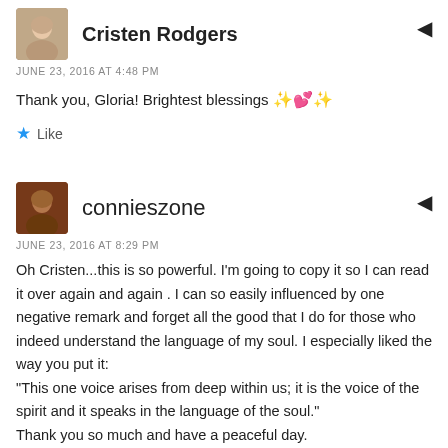[Figure (photo): Avatar thumbnail of Cristen Rodgers]
Cristen Rodgers
JUNE 23, 2016 AT 4:48 PM
Thank you, Gloria! Brightest blessings ✨💕✨
★ Like
[Figure (photo): Avatar thumbnail of connieszone]
connieszone
JUNE 23, 2016 AT 8:29 PM
Oh Cristen...this is so powerful. I'm going to copy it so I can read it over again and again . I can so easily influenced by one negative remark and forget all the good that I do for those who indeed understand the language of my soul. I especially liked the way you put it:
"This one voice arises from deep within us; it is the voice of the spirit and it speaks in the language of the soul."
Thank you so much and have a peaceful day.